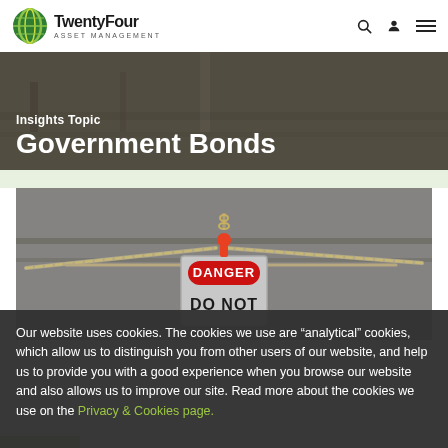TwentyFour Asset Management
Insights Topic
Government Bonds
[Figure (photo): Photo of chains holding a metal sign that reads DANGER DO NOT, with a small orange safety padlock figure on top, against a blurred industrial background.]
Our website uses cookies. The cookies we use are “analytical” cookies, which allow us to distinguish you from other users of our website, and help us to provide you with a good experience when you browse our website and also allows us to improve our site. Read more about the cookies we use on the Privacy & Cookies page.